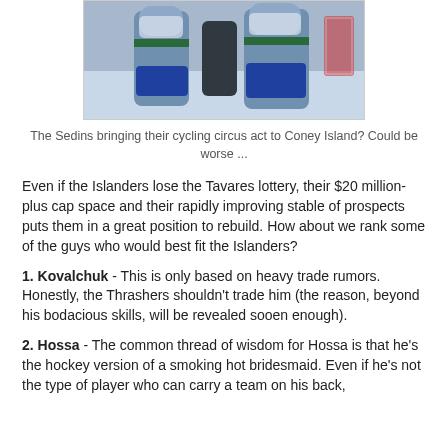[Figure (photo): Two Vancouver Canucks hockey players in white and green jerseys on the ice, with a goalie visible in the background.]
The Sedins bringing their cycling circus act to Coney Island? Could be worse ...
Even if the Islanders lose the Tavares lottery, their $20 million-plus cap space and their rapidly improving stable of prospects puts them in a great position to rebuild. How about we rank some of the guys who would best fit the Islanders?
1. Kovalchuk - This is only based on heavy trade rumors. Honestly, the Thrashers shouldn't trade him (the reason, beyond his bodacious skills, will be revealed sooen enough).
2. Hossa - The common thread of wisdom for Hossa is that he's the hockey version of a smoking hot bridesmaid. Even if he's not the type of player who can carry a team on his back,